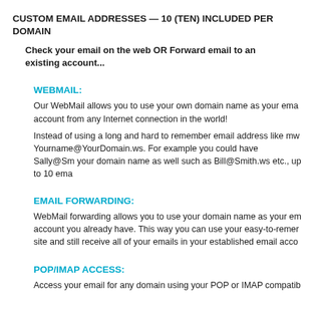CUSTOM EMAIL ADDRESSES — 10 (TEN) INCLUDED PER DOMAIN
Check your email on the web OR Forward email to an existing account...
WEBMAIL:
Our WebMail allows you to use your own domain name as your email account from any Internet connection in the world!
Instead of using a long and hard to remember email address like mw... Yourname@YourDomain.ws. For example you could have Sally@Sm... your domain name as well such as Bill@Smith.ws etc., up to 10 ema...
EMAIL FORWARDING:
WebMail forwarding allows you to use your domain name as your em... account you already have. This way you can use your easy-to-remer... site and still receive all of your emails in your established email acco...
POP/IMAP ACCESS:
Access your email for any domain using your POP or IMAP compatib...